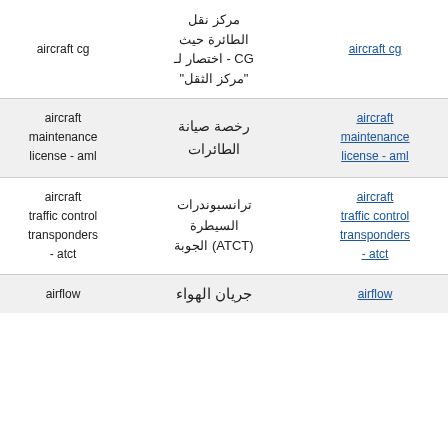| aircraft cg | مركز نقل الطائرة حيث CG - اختصار لـ "مركز الثقل | aircraft cg | Aviation |
| aircraft maintenance license - aml | رخصة صيانة الطائرات | aircraft maintenance license - aml | Aviation |
| aircraft traffic control transponders - atct | ترانسبوندرات السيطرة الجوبة (ATCT) | aircraft traffic control transponders - atct | Aviation |
| airflow | جريان الهواء | airflow | Aviation |